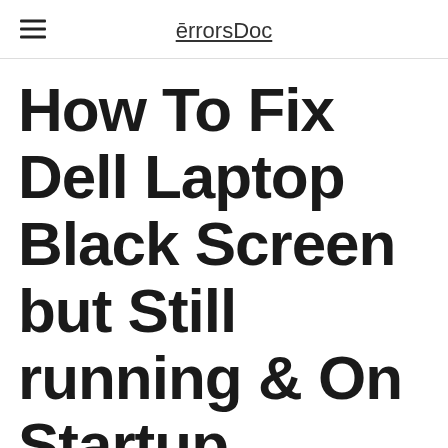errorsDoc
How To Fix Dell Laptop Black Screen but Still running & On Startup
When your Dell laptop displays a black screen that is completely blank, working on the device may